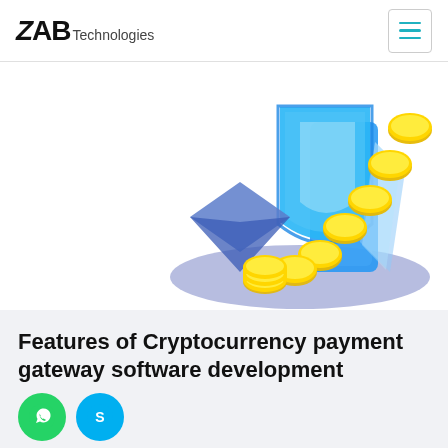ZAB Technologies
[Figure (illustration): Cryptocurrency payment gateway illustration: gold coins, blue shield, and phone/wallet graphic with purple oval base]
Features of Cryptocurrency payment gateway software development
User Features :